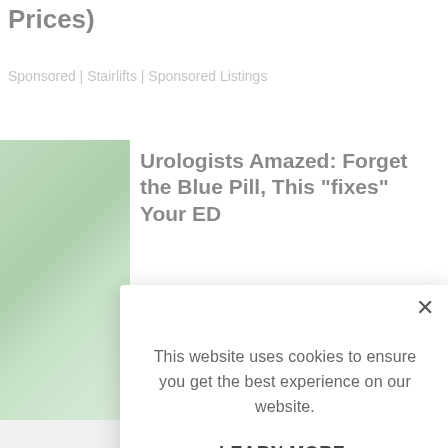Prices)
Sponsored | Stairlifts | Sponsored Listings
[Figure (photo): Hand holding green leaves, outdoor background]
Urologists Amazed: Forget the Blue Pill, This "fixes" Your ED
[Figure (screenshot): Cookie consent modal overlay with message: This website uses cookies to ensure you get the best experience on our website. LEARN MORE. ACCEPT COOKIES button.]